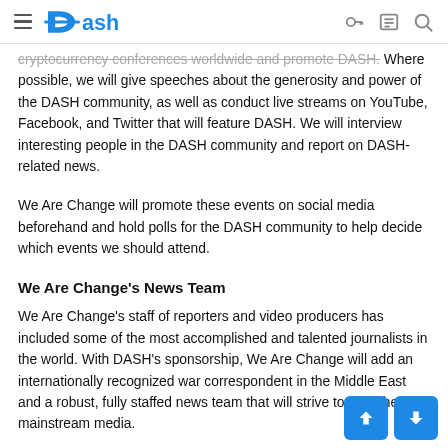Dash
cryptocurrency conferences worldwide and promote DASH. Where possible, we will give speeches about the generosity and power of the DASH community, as well as conduct live streams on YouTube, Facebook, and Twitter that will feature DASH. We will interview interesting people in the DASH community and report on DASH-related news.
We Are Change will promote these events on social media beforehand and hold polls for the DASH community to help decide which events we should attend.
We Are Change's News Team
We Are Change's staff of reporters and video producers has included some of the most accomplished and talented journalists in the world. With DASH's sponsorship, We Are Change will add an internationally recognized war correspondent in the Middle East and a robust, fully staffed news team that will strive to beat the mainstream media.